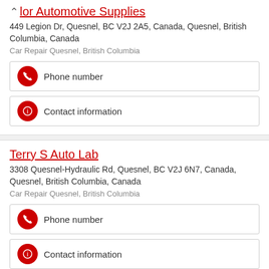...lor Automotive Supplies
449 Legion Dr, Quesnel, BC V2J 2A5, Canada, Quesnel, British Columbia, Canada
Car Repair Quesnel, British Columbia
Phone number
Contact information
Terry S Auto Lab
3308 Quesnel-Hydraulic Rd, Quesnel, BC V2J 6N7, Canada, Quesnel, British Columbia, Canada
Car Repair Quesnel, British Columbia
Phone number
Contact information
Tireland 1 Minute Muffler